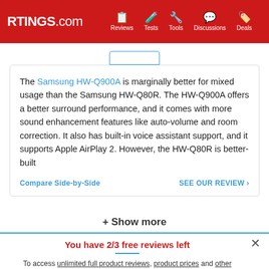RTINGS.com | Reviews | Tests | Tools | Discussions | Deals
The Samsung HW-Q900A is marginally better for mixed usage than the Samsung HW-Q80R. The HW-Q900A offers a better surround performance, and it comes with more sound enhancement features like auto-volume and room correction. It also has built-in voice assistant support, and it supports Apple AirPlay 2. However, the HW-Q80R is better-built
Compare Side-by-Side | SEE OUR REVIEW
+ Show more
You have 2/3 free reviews left
To access unlimited full product reviews, product prices and other exclusive site features Become an Insider